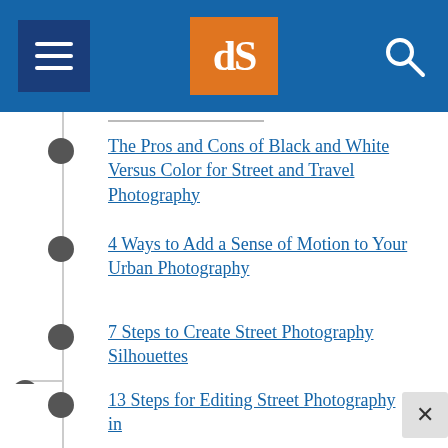dPS navigation menu header
The Pros and Cons of Black and White Versus Color for Street and Travel Photography
4 Ways to Add a Sense of Motion to Your Urban Photography
7 Steps to Create Street Photography Silhouettes
POST-PROCESSING
How to Enhance Urban Night Photographs Using Luminosity Masks in Photoshop
13 Steps for Editing Street Photography in